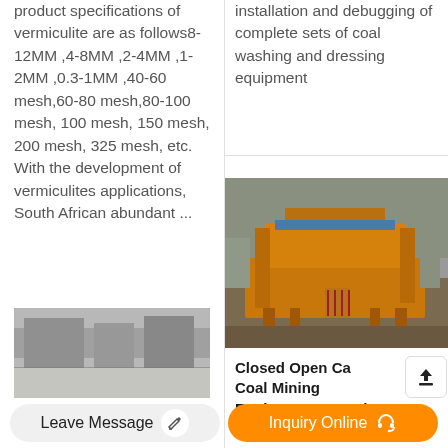product specifications of vermiculite are as follows8-12MM ,4-8MM ,2-4MM ,1-2MM ,0.3-1MM ,40-60 mesh,60-80 mesh,80-100 mesh, 100 mesh, 150 mesh, 200 mesh, 325 mesh, etc. With the development of vermiculites applications, South African abundant ...
installation and debugging of complete sets of coal washing and dressing equipment
[Figure (photo): Industrial mining/processing facility with orange equipment structures, conveyor systems, and stockpiles of material]
Closed Open Ca Coal Mining Equipment For Sale Conster
[Figure (photo): Partial view of industrial equipment or machinery (left column bottom)]